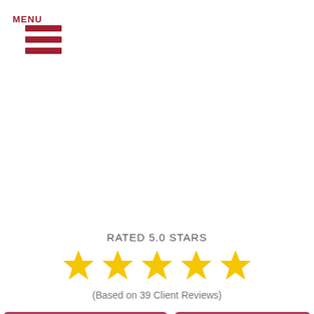[Figure (other): Hamburger menu icon with three red horizontal bars and MENU label below]
RATED 5.0 STARS
[Figure (other): Five gold star rating icons in a row]
(Based on 39 Client Reviews)
CALL US (815) 421-1334
CONTACT US